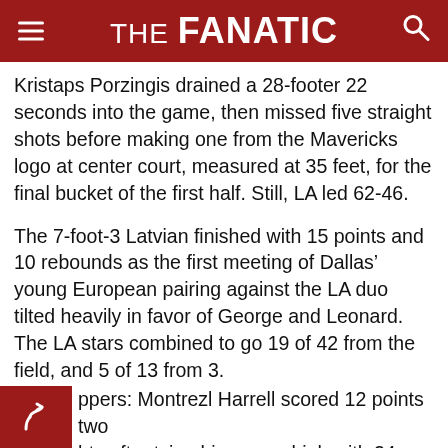THE FANATIC
Kristaps Porzingis drained a 28-footer 22 seconds into the game, then missed five straight shots before making one from the Mavericks logo at center court, measured at 35 feet, for the final bucket of the first half. Still, LA led 62-46.
The 7-foot-3 Latvian finished with 15 points and 10 rebounds as the first meeting of Dallas’ young European pairing against the LA duo tilted heavily in favor of George and Leonard. The LA stars combined to go 19 of 42 from the field, and 5 of 13 from 3.
TIP-INS
ppers: Montrezl Harrell scored 12 points two hts after tying his career high with 24 against